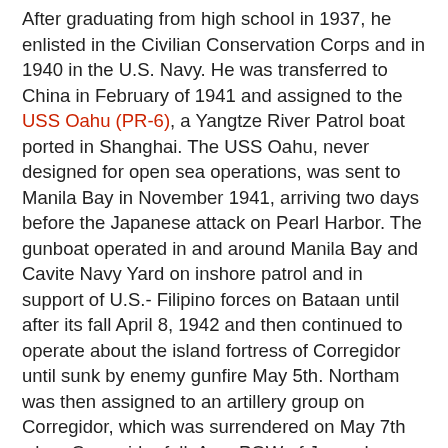After graduating from high school in 1937, he enlisted in the Civilian Conservation Corps and in 1940 in the U.S. Navy. He was transferred to China in February of 1941 and assigned to the USS Oahu (PR-6), a Yangtze River Patrol boat ported in Shanghai. The USS Oahu, never designed for open sea operations, was sent to Manila Bay in November 1941, arriving two days before the Japanese attack on Pearl Harbor. The gunboat operated in and around Manila Bay and Cavite Navy Yard on inshore patrol and in support of U.S.-Filipino forces on Bataan until after its fall April 8, 1942 and then continued to operate about the island fortress of Corregidor until sunk by enemy gunfire May 5th. Northam was then assigned to an artillery group on Corregidor, which was surrendered on May 7th when Corregidor fell. As a POW of Japan he was sent to Bilibid POW Camp in Manila and then moved to Cabanatuan 1 and 2. In November 1942, he was sent to Japan aboard Mitsubishi's Hellship the Nagato Maru. He worked for Nippon Express as a slave stevedore in the freight yards in and around the city of Osaka at Umeda Bunsho Camp in Osaka (Osaka 2-D UMEDA). In March 1945, after his POW camp was firebombed, he was transferred to Osaka POW Camp 5-B TSURUGA were he